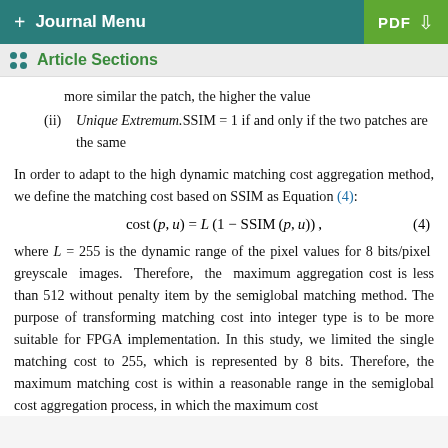+ Journal Menu | PDF
Article Sections
more similar the patch, the higher the value
(ii) Unique Extremum.SSIM = 1 if and only if the two patches are the same
In order to adapt to the high dynamic matching cost aggregation method, we define the matching cost based on SSIM as Equation (4):
where L = 255 is the dynamic range of the pixel values for 8 bits/pixel greyscale images. Therefore, the maximum aggregation cost is less than 512 without penalty item by the semiglobal matching method. The purpose of transforming matching cost into integer type is to be more suitable for FPGA implementation. In this study, we limited the single matching cost to 255, which is represented by 8 bits. Therefore, the maximum matching cost is within a reasonable range in the semiglobal cost aggregation process, in which the maximum cost